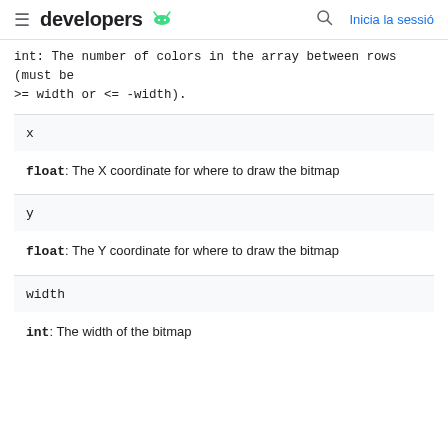developers | Inicia la sessió
int: The number of colors in the array between rows (must be >= width or <= -width).
x
float: The X coordinate for where to draw the bitmap
y
float: The Y coordinate for where to draw the bitmap
width
int: The width of the bitmap